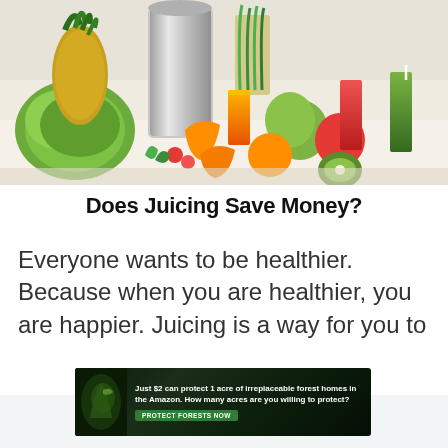[Figure (photo): A juicer surrounded by various fruits and vegetables including pineapple, cabbage, apples, oranges, kiwi, carrots, and glasses of fresh juice (orange, red, and green) on a white kitchen counter.]
Does Juicing Save Money?
Everyone wants to be healthier. Because when you are healthier, you are happier. Juicing is a way for you to
[Figure (infographic): Advertisement banner with dark forest background. Text reads: 'Just $2 can protect 1 acre of irreplaceable forest homes in the Amazon. How many acres are you willing to protect?' with a green 'PROTECT FORESTS NOW' button.]